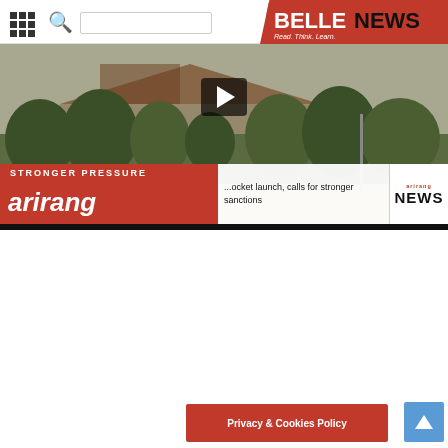BELLENEWS - Read. Think. Learn.
[Figure (screenshot): Arirang News video player showing a government building, with play button, STRONGER PRESSURE ticker text, arirang logo, and news ticker reading rocket launch calls for stronger sanctions]
Privacy & Cookies Policy